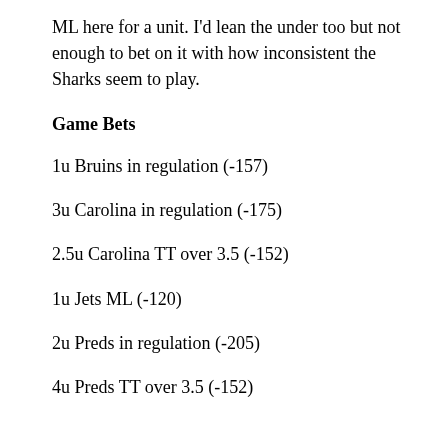ML here for a unit. I'd lean the under too but not enough to bet on it with how inconsistent the Sharks seem to play.
Game Bets
1u Bruins in regulation (-157)
3u Carolina in regulation (-175)
2.5u Carolina TT over 3.5 (-152)
1u Jets ML (-120)
2u Preds in regulation (-205)
4u Preds TT over 3.5 (-152)